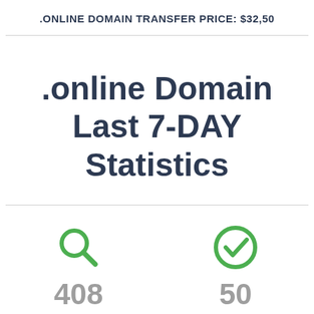.ONLINE DOMAIN TRANSFER PRICE: $32,50
.online Domain Last 7-DAY Statistics
[Figure (infographic): Green search (magnifying glass) icon with number 408 below it, and green checkmark circle icon with number 50 below it, representing 7-day domain statistics.]